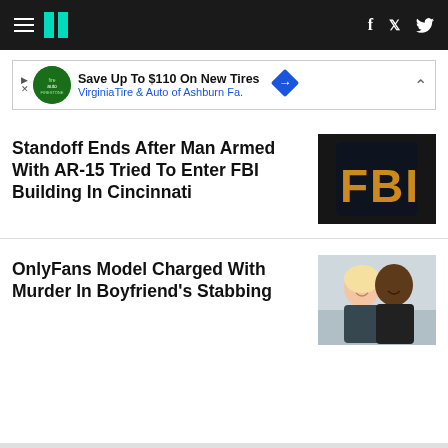HuffPost navigation bar with hamburger menu, logo, Facebook and Twitter icons
[Figure (screenshot): Advertisement banner: Save Up To $110 On New Tires - VirginiaTire & Auto of Ashburn Fa.]
Standoff Ends After Man Armed With AR-15 Tried To Enter FBI Building In Cincinnati
[Figure (photo): Close-up photo of the back of an FBI jacket in dark navy with yellow letters]
OnlyFans Model Charged With Murder In Boyfriend's Stabbing
[Figure (photo): Photo of a blonde woman and a Black man smiling together in a selfie outdoors]